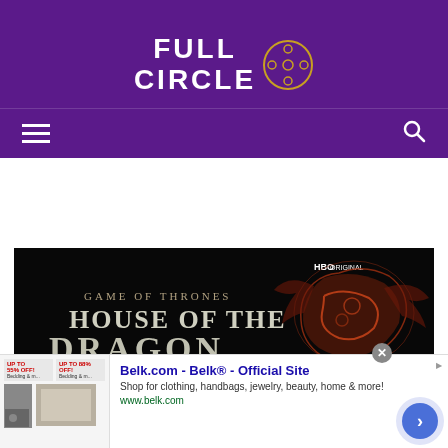[Figure (logo): Full Circle logo with film reel icon on purple background]
[Figure (screenshot): Game of Thrones: House of the Dragon HBO Original promotional banner image showing title text and dragon sigil on dark background]
Belk.com - Belk® - Official Site
Shop for clothing, handbags, jewelry, beauty, home & more!
www.belk.com